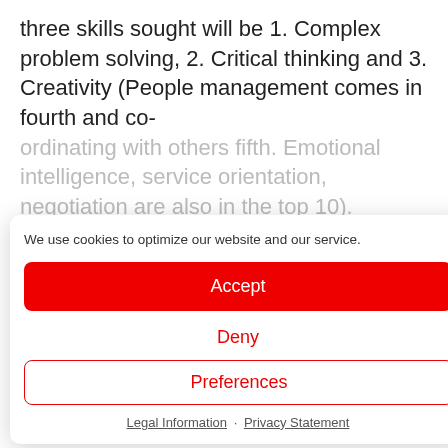three skills sought will be 1. Complex problem solving, 2. Critical thinking and 3. Creativity (People management comes in fourth and co-ordinating with others fifth. Emotional intelligence, service orientation, negotiation are also in the top 10).
What is critical thinking?
Critical thinking is the ability to think clearly and rationally – without letting your emotions get in the way – about what to believe or what to do. You must not let your own emotions – or the emotions of others – affect your judgement.
Critical thinking requires you to challenge assumptions – and to question the validity of
We use cookies to optimize our website and our service.
Accept
Deny
Preferences
Legal Information · Privacy Statement